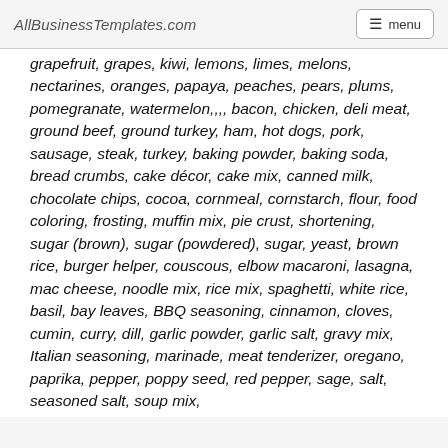AllBusinessTemplates.com
grapefruit, grapes, kiwi, lemons, limes, melons, nectarines, oranges, papaya, peaches, pears, plums, pomegranate, watermelon,,,, bacon, chicken, deli meat, ground beef, ground turkey, ham, hot dogs, pork, sausage, steak, turkey, baking powder, baking soda, bread crumbs, cake décor, cake mix, canned milk, chocolate chips, cocoa, cornmeal, cornstarch, flour, food coloring, frosting, muffin mix, pie crust, shortening, sugar (brown), sugar (powdered), sugar, yeast, brown rice, burger helper, couscous, elbow macaroni, lasagna, mac cheese, noodle mix, rice mix, spaghetti, white rice, basil, bay leaves, BBQ seasoning, cinnamon, cloves, cumin, curry, dill, garlic powder, garlic salt, gravy mix, Italian seasoning, marinade, meat tenderizer, oregano, paprika, pepper, poppy seed, red pepper, sage, salt, seasoned salt, soup mix,